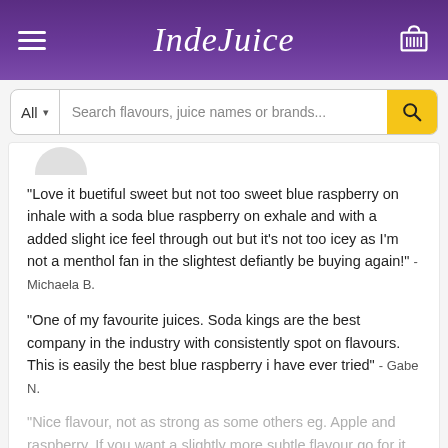IndeJuice
Search flavours, juice names or brands...
"Love it buetiful sweet but not too sweet blue raspberry on inhale with a soda blue raspberry on exhale and with a added slight ice feel through out but it's not too icey as I'm not a menthol fan in the slightest defiantly be buying again!" - Michaela B.
"One of my favourite juices. Soda kings are the best company in the industry with consistently spot on flavours. This is easily the best blue raspberry i have ever tried" - Gabe N.
"Nice flavour, not as strong as some others eg. Apple and raspberry. If you want a slightly more subtle flavour go for it. Nice and smooth taste tho" - Kirsty B.
READ MORE